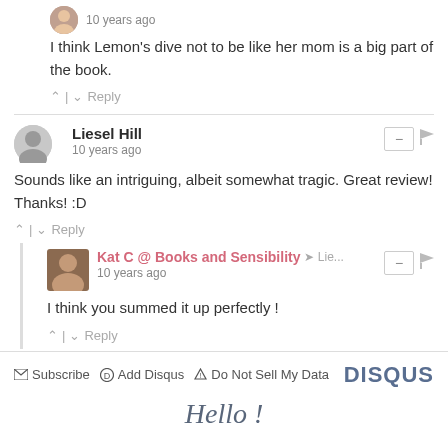I think Lemon's dive not to be like her mom is a big part of the book.
^ | v Reply
Liesel Hill
10 years ago
Sounds like an intriguing, albeit somewhat tragic. Great review! Thanks! :D
^ | v Reply
Kat C @ Books and Sensibility → Lie...
10 years ago
I think you summed it up perfectly !
^ | v Reply
Subscribe  Add Disqus  Do Not Sell My Data   DISQUS
Hello !